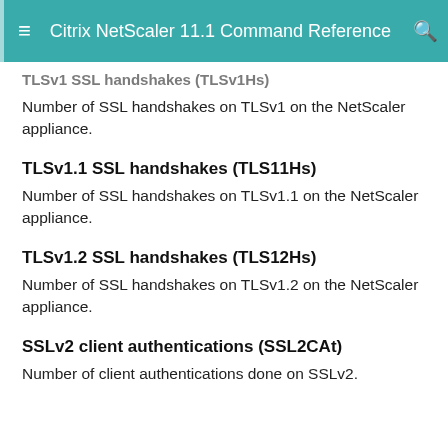Citrix NetScaler 11.1 Command Reference
TLSv1 SSL handshakes (TLSv1Hs)
Number of SSL handshakes on TLSv1 on the NetScaler appliance.
TLSv1.1 SSL handshakes (TLS11Hs)
Number of SSL handshakes on TLSv1.1 on the NetScaler appliance.
TLSv1.2 SSL handshakes (TLS12Hs)
Number of SSL handshakes on TLSv1.2 on the NetScaler appliance.
SSLv2 client authentications (SSL2CAt)
Number of client authentications done on SSLv2.